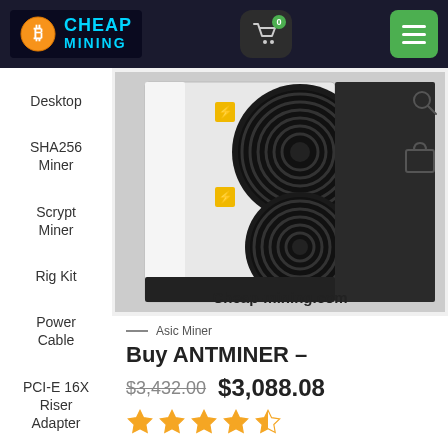[Figure (logo): Cheap Mining logo with Bitcoin symbol and cyan text on dark navy background]
[Figure (screenshot): Shopping cart icon with green badge showing 0]
[Figure (screenshot): Green hamburger menu button]
Desktop
SHA256 Miner
Scrypt Miner
Rig Kit
Power Cable
PCI-E 16X Riser Adapter
[Figure (photo): Antminer ASIC cryptocurrency mining hardware showing large black cooling fans on white/silver unit with yellow warning labels, Cheap-mining.com watermark]
Asic Miner
Buy ANTMINER –
$3,432.00  $3,088.08
[Figure (other): 4 filled orange stars and 1 half-filled star rating]